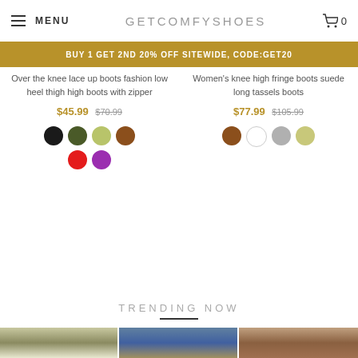MENU  GETCOMFYSHOES  0
BUY 1 GET 2ND 20% OFF SITEWIDE, CODE:GET20
Over the knee lace up boots fashion low heel thigh high boots with zipper
$45.99 $70.99
Women's knee high fringe boots suede long tassels boots
$77.99 $105.99
TRENDING NOW
[Figure (photo): Three product photos of shoes/boots at the bottom of the page]